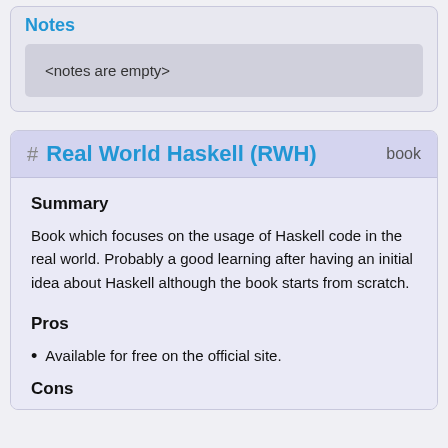Notes
<notes are empty>
# Real World Haskell (RWH)   book
Summary
Book which focuses on the usage of Haskell code in the real world. Probably a good learning after having an initial idea about Haskell although the book starts from scratch.
Pros
Available for free on the official site.
Cons